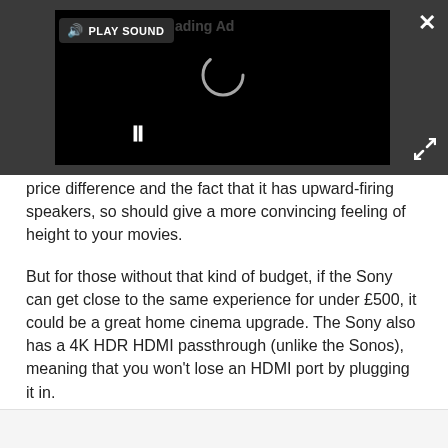[Figure (screenshot): Video player overlay on dark gray background. Shows a black video area with a loading spinner, a 'PLAY SOUND' button with speaker icon, a pause button (||), a close (X) button top-right, and an expand button bottom-right.]
price difference and the fact that it has upward-firing speakers, so should give a more convincing feeling of height to your movies.
But for those without that kind of budget, if the Sony can get close to the same experience for under £500, it could be a great home cinema upgrade. The Sony also has a 4K HDR HDMI passthrough (unlike the Sonos), meaning that you won't lose an HDMI port by plugging it in.
HOW ABOUT A CHEAP REGULAR SURROUND